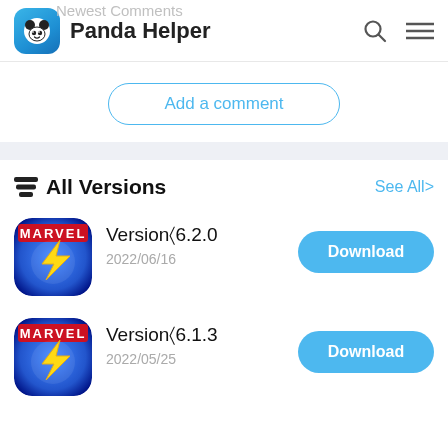Panda Helper
Newest Comments
Add a comment
All Versions
See All>
[Figure (illustration): Marvel game app icon with yellow superhero lightning bolt on blue background]
Version6.2.0
2022/06/16
Download
[Figure (illustration): Marvel game app icon with yellow superhero lightning bolt on blue background]
Version6.1.3
2022/05/25
Download